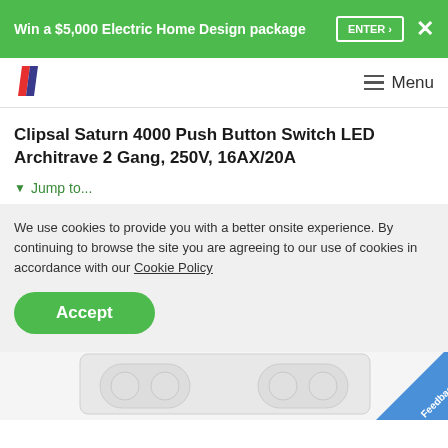Win a $5,000 Electric Home Design package  ENTER ›  ✕
[Figure (logo): Brand logo with two overlapping diagonal stripes in red and dark blue/purple]
≡  Menu
Clipsal Saturn 4000 Push Button Switch LED Architrave 2 Gang, 250V, 16AX/20A
▼ Jump to...
We use cookies to provide you with a better onsite experience. By continuing to browse the site you are agreeing to our use of cookies in accordance with our Cookie Policy
Accept
[Figure (photo): Partial view of a white Clipsal Saturn 4000 Push Button Switch LED Architrave product, showing the face of the switch with multiple buttons]